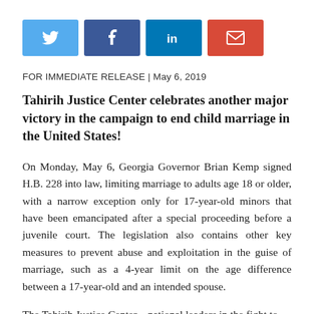[Figure (other): Social media share buttons: Twitter (blue), Facebook (dark blue), LinkedIn (blue), Email (red)]
FOR IMMEDIATE RELEASE | May 6, 2019
Tahirih Justice Center celebrates another major victory in the campaign to end child marriage in the United States!
On Monday, May 6, Georgia Governor Brian Kemp signed H.B. 228 into law, limiting marriage to adults age 18 or older, with a narrow exception only for 17-year-old minors that have been emancipated after a special proceeding before a juvenile court. The legislation also contains other key measures to prevent abuse and exploitation in the guise of marriage, such as a 4-year limit on the age difference between a 17-year-old and an intended spouse.
The Tahirih Justice Center – national leaders in the fight to